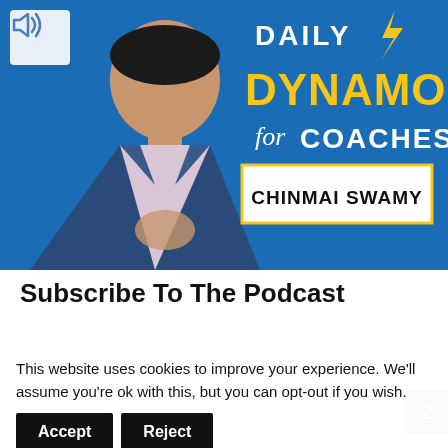[Figure (photo): Podcast cover image for 'Daily Dynamo for Coaches' by Chinmai Swamy. A man in a blue suit stands against a blue background with golden text reading 'DAILY DYNAMO' and script text 'for COACHES', with 'CHINMAI SWAMY' in a white box with gold border. A speaker/volume icon is in the top-left corner.]
Subscribe To The Podcast
Daily short powerful episodes for authors, coaches
This website uses cookies to improve your experience. We'll assume you're ok with this, but you can opt-out if you wish.
Accept   Reject   and you read more by clicking here